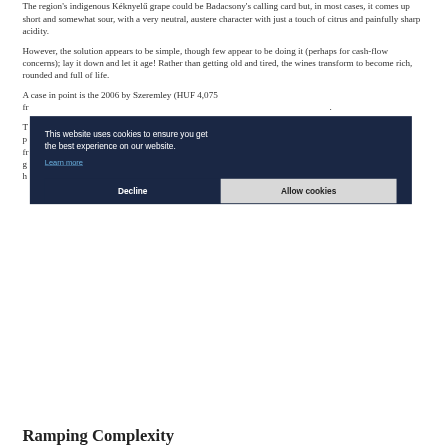The region's indigenous Kéknyelű grape could be Badacsony's calling card but, in most cases, it comes up short and somewhat sour, with a very neutral, austere character with just a touch of citrus and painfully sharp acidity.
However, the solution appears to be simple, though few appear to be doing it (perhaps for cash-flow concerns); lay it down and let it age! Rather than getting old and tired, the wines transform to become rich, rounded and full of life.
A case in point is the 2006 by Szeremley (HUF 4,075 fr...
[Figure (screenshot): Cookie consent banner overlay with dark navy background. Text reads: 'This website uses cookies to ensure you get the best experience on our website.' with a 'Learn more' link. Two buttons: 'Decline' (dark) and 'Allow cookies' (light grey).]
Ramping Complexity